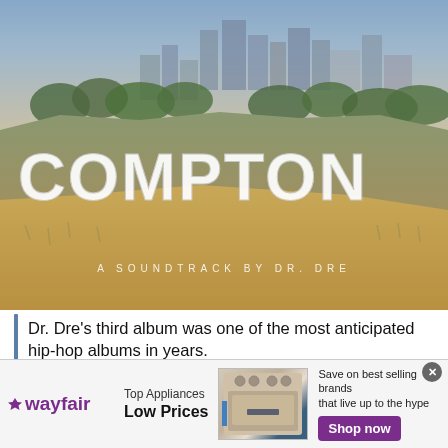[Figure (photo): Aerial photo showing large white letters spelling 'COMPTON' (styled like the Hollywood sign) on a hillside, with city skyline in the background. Text overlay reads 'A SOUNDTRACK BY DR. DRE']
Dr. Dre's third album was one of the most anticipated hip-hop albums in years.
Photo: Apple
Dr. Dre released his album, Compton...
[Figure (screenshot): Wayfair advertisement banner: 'Top Appliances Low Prices' with image of a range/oven and 'Save on best selling brands that live up to the hype' with a 'Shop now' purple button]